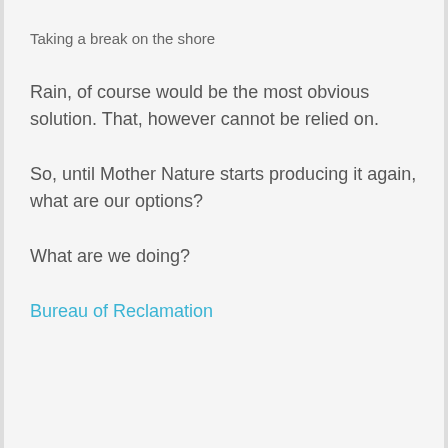Taking a break on the shore
Rain, of course would be the most obvious solution. That, however cannot be relied on.
So, until Mother Nature starts producing it again, what are our options?
What are we doing?
Bureau of Reclamation